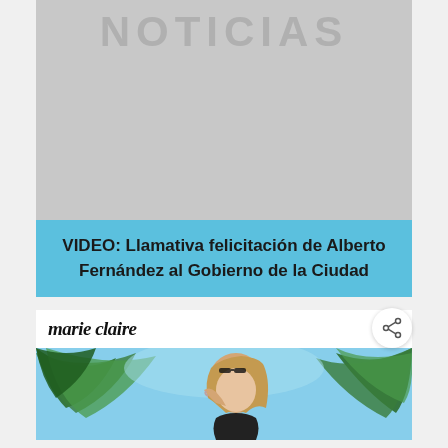[Figure (screenshot): Gray card background with 'NOTICIAS' text watermark at top]
NOTICIAS
VIDEO: Llamativa felicitación de Alberto Fernández al Gobierno de la Ciudad
[Figure (screenshot): Marie Claire magazine card with logo and photo of a young woman with wavy blonde hair and sunglasses on head, posed in front of palm tree fronds against a blue sky]
marie claire